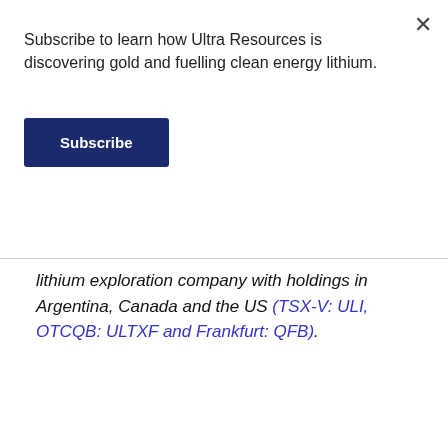Subscribe to learn how Ultra Resources is discovering gold and fuelling clean energy lithium.
Subscribe
lithium exploration company with holdings in Argentina, Canada and the US (TSX-V: ULI, OTCQB: ULTXF and Frankfurt: QFB).